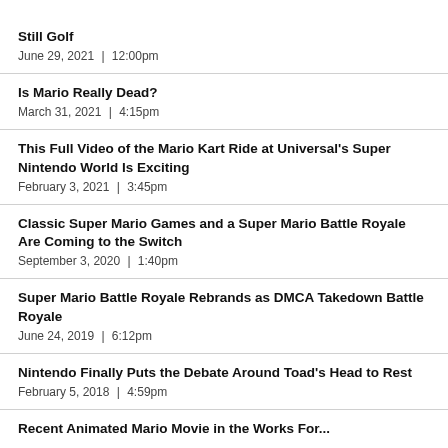Still Golf
June 29, 2021  |  12:00pm
Is Mario Really Dead?
March 31, 2021  |  4:15pm
This Full Video of the Mario Kart Ride at Universal's Super Nintendo World Is Exciting
February 3, 2021  |  3:45pm
Classic Super Mario Games and a Super Mario Battle Royale Are Coming to the Switch
September 3, 2020  |  1:40pm
Super Mario Battle Royale Rebrands as DMCA Takedown Battle Royale
June 24, 2019  |  6:12pm
Nintendo Finally Puts the Debate Around Toad's Head to Rest
February 5, 2018  |  4:59pm
Recent Animated Mario Movie in the Works For...